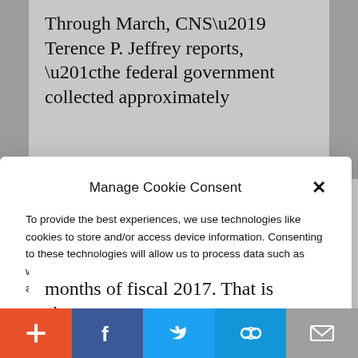Through March, CNS’ Terence P. Jeffrey reports, “the federal government collected approximately
Manage Cookie Consent
To provide the best experiences, we use technologies like cookies to store and/or access device information. Consenting to these technologies will allow us to process data such as website statistics. Not consenting or withdrawing consent, may adversely affect certain features and functions.
Accept
Cookie Policy   Privacy Policy
months of fiscal 2017. That is about